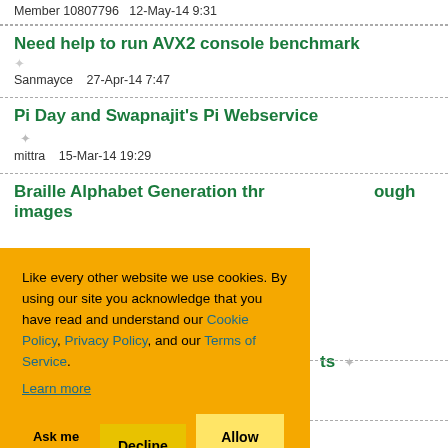Member 10807796   12-May-14 9:31
Need help to run AVX2 console benchmark
Sanmayce   27-Apr-14 7:47
Pi Day and Swapnajit's Pi Webservice
mittra   15-Mar-14 19:29
Braille Alphabet Generation through images
Like every other website we use cookies. By using our site you acknowledge that you have read and understand our Cookie Policy, Privacy Policy, and our Terms of Service. Learn more
Ask me later | Decline | Allow cookies
ts
...